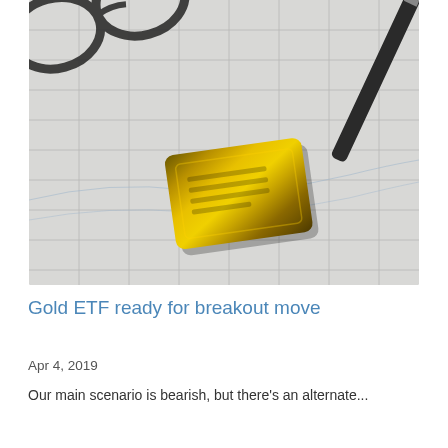[Figure (photo): A gold bar resting on a paper ledger/chart with grid lines, with dark-framed glasses visible in the upper left and a pen in the upper right corner.]
Gold ETF ready for breakout move
Apr 4, 2019
Our main scenario is bearish, but there's an alternate...